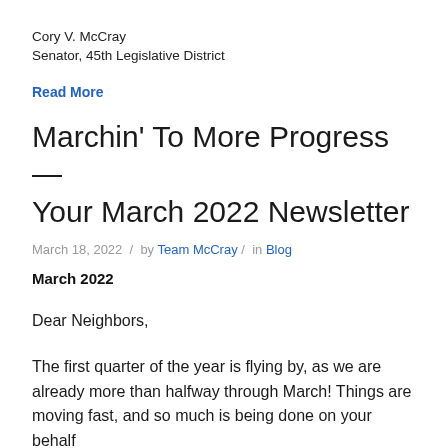Cory V. McCray
Senator, 45th Legislative District
Read More
Marchin' To More Progress — Your March 2022 Newsletter
March 18, 2022 / by Team McCray / in Blog
March 2022
Dear Neighbors,
The first quarter of the year is flying by, as we are already more than halfway through March! Things are moving fast, and so much is being done on your behalf